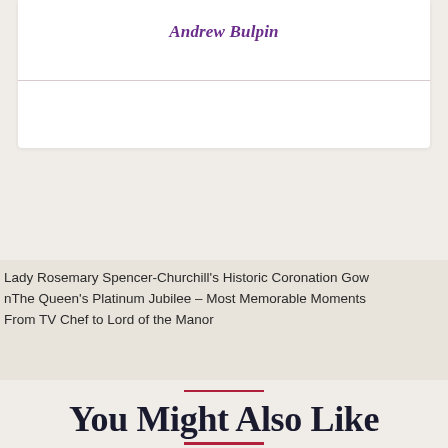Andrew Bulpin
Lady Rosemary Spencer-Churchill's Historic Coronation Gown
The Queen's Platinum Jubilee – Most Memorable Moments
From TV Chef to Lord of the Manor
You Might Also Like